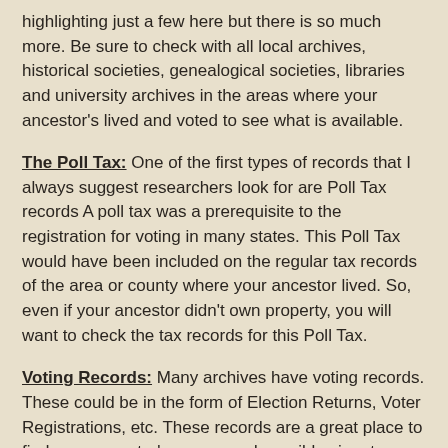highlighting just a few here but there is so much more. Be sure to check with all local archives, historical societies, genealogical societies, libraries and university archives in the areas where your ancestor's lived and voted to see what is available.
The Poll Tax: One of the first types of records that I always suggest researchers look for are Poll Tax records A poll tax was a prerequisite to the registration for voting in many states. This Poll Tax would have been included on the regular tax records of the area or county where your ancestor lived. So, even if your ancestor didn't own property, you will want to check the tax records for this Poll Tax.
Voting Records: Many archives have voting records. These could be in the form of Election Returns, Voter Registrations, etc. These records are a great place to find your ancestor's names and possible signatures. These records could also have local election officials who worked the elections or were in charge of operating the elections and counting the ballots.